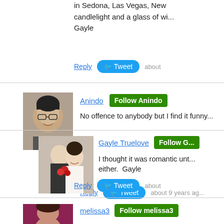in Sedona, Las Vegas, New... candlelight and a glass of wi... Gayle
Reply | Tweet | about
Anindo | Follow Anindo
No offence to anybody but I find it funny...
Reply | Tweet | about 9 years ag...
Gayle Truelove | Follow G...
I thought it was romantic unt... either.  Gayle
Reply | Tweet | about
melissa3 | Follow melissa3
I think I saw something like this on an e... locked it in place.  At the time I thought... and bridges then people are getting car...
Reply | Tweet | about 9 years ag...
Gayle T...